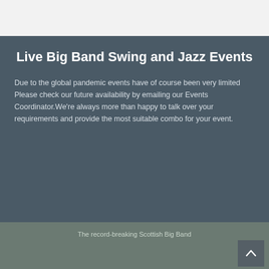Live Big Band Swing and Jazz Events
Due to the global pandemic events have of course been very limited Please check our future availability by emailing our Events Coordinator.We're always more than happy to talk over your requirements and provide the most suitable combo for your event.
The record-breaking Scottish Big Band